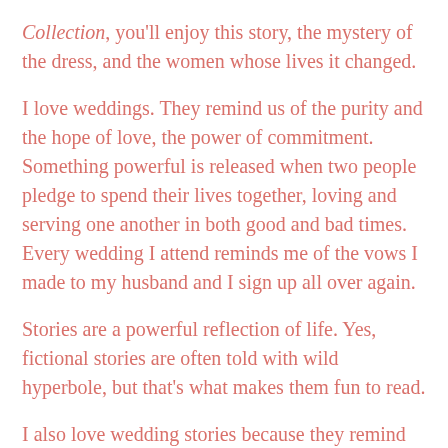Collection, you'll enjoy this story, the mystery of the dress, and the women whose lives it changed.
I love weddings. They remind us of the purity and the hope of love, the power of commitment. Something powerful is released when two people pledge to spend their lives together, loving and serving one another in both good and bad times. Every wedding I attend reminds me of the vows I made to my husband and I sign up all over again.
Stories are a powerful reflection of life. Yes, fictional stories are often told with wild hyperbole, but that's what makes them fun to read.
I also love wedding stories because they remind us of God's love for us, and that one day there will be the grandest wedding of them all. Isn't it wonderful that God planned a wedding before He created the earth?